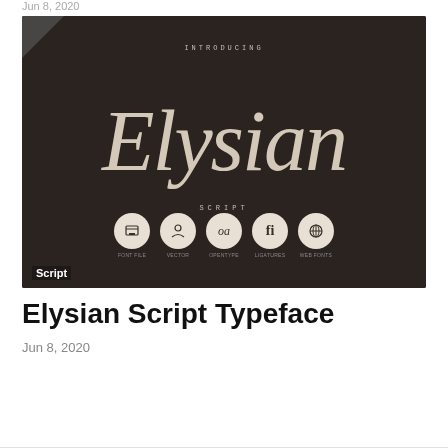Jun 8, 2020
[Figure (illustration): Dark brown background promotional image for Elysian Script Typeface. Shows the word 'Elysian' in large cursive/script font in cream color, with 'INTRODUCING' above and 'SCRIPT' below in small spaced caps. Five circular icons at the bottom showing font features. 'Script' badge in bottom left corner.]
Elysian Script Typeface
Jun 8, 2020